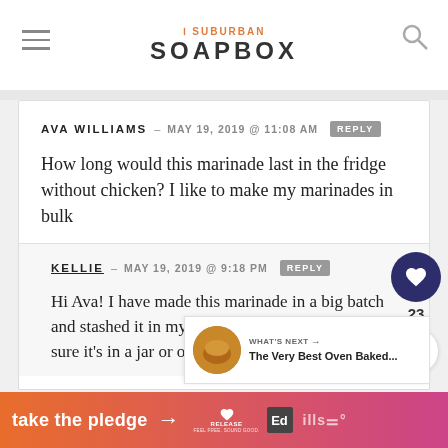THE SUBURBAN SOAPBOX
AVA WILLIAMS – MAY 19, 2019 @ 11:08 AM [REPLY]
How long would this marinade last in the fridge without chicken? I like to make my marinades in bulk
KELLIE – MAY 19, 2019 @ 9:18 PM [REPLY]
Hi Ava! I have made this marinade in a big batch and stashed it in my fridge for up to a month. Be sure it's in a jar or other
[Figure (infographic): What's Next widget showing a circular food image thumbnail with text 'WHAT'S NEXT → The Very Best Oven Baked...']
[Figure (infographic): Orange/pink gradient ad banner reading 'take the pledge →' with Release and Ed logos]